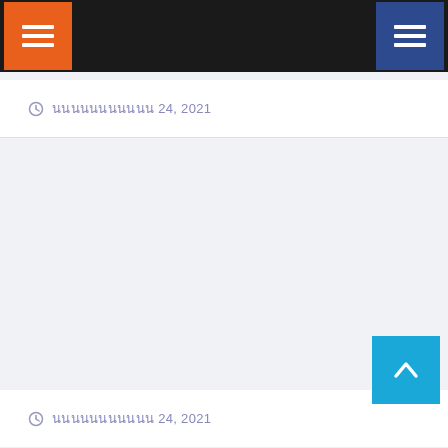Navigation header with orange menu button and blue menu button
🕐 นนนนนนนนนนน 24, 2021
🕐 นนนนนนนนนนน 24, 2021